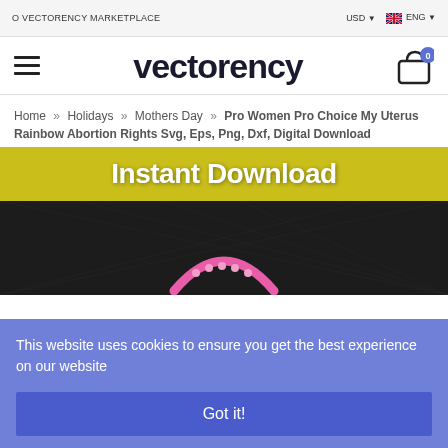O VECTORENCY MARKETPLACE  USD  ENG
[Figure (logo): Vectorency logo with hamburger menu and shopping cart icon with badge showing 0]
Home » Holidays » Mothers Day » Pro Women Pro Choice My Uterus Rainbow Abortion Rights Svg, Eps, Png, Dxf, Digital Download
[Figure (photo): Product image with yellow 'Instant Download' banner and dark background showing a pink arch/uterus design with dots]
This website uses cookies to ensure you get the best experience on our website
Got it!